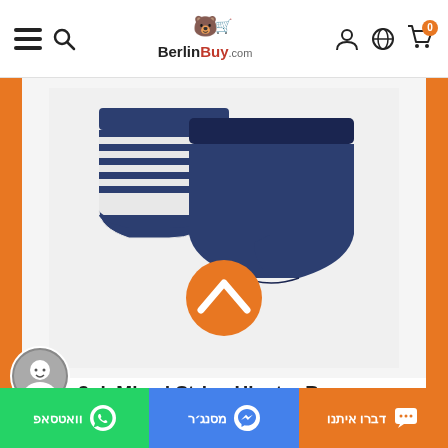BerlinBuy.com
[Figure (photo): Product photo of 3pk Mixed Stripe Hipster Boxers — two navy boxer briefs, one striped navy/white, one solid navy, arranged overlapping. An orange circle with a white chevron/up-arrow is overlaid at the bottom center of the image.]
3pk Mixed Stripe Hipster Boxers
€10,00 / 32,54 ₪
דברו איתנו  מסנג׳ר  וואטסאפ